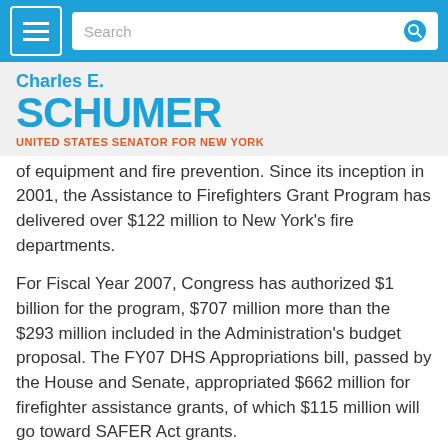Charles E. Schumer — UNITED STATES SENATOR FOR NEW YORK
of equipment and fire prevention. Since its inception in 2001, the Assistance to Firefighters Grant Program has delivered over $122 million to New York's fire departments.
For Fiscal Year 2007, Congress has authorized $1 billion for the program, $707 million more than the $293 million included in the Administration's budget proposal. The FY07 DHS Appropriations bill, passed by the House and Senate, appropriated $662 million for firefighter assistance grants, of which $115 million will go toward SAFER Act grants.
The Operations and Firefighter Safety Program